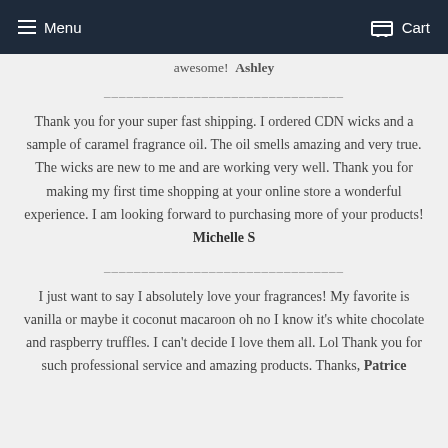Menu  Cart
awesome!  Ashley
Thank you for your super fast shipping. I ordered CDN wicks and a sample of caramel fragrance oil. The oil smells amazing and very true. The wicks are new to me and are working very well. Thank you for making my first time shopping at your online store a wonderful experience. I am looking forward to purchasing more of your products! Michelle S
I just want to say I absolutely love your fragrances! My favorite is vanilla or maybe it coconut macaroon oh no I know it's white chocolate and raspberry truffles. I can't decide I love them all. Lol Thank you for such professional service and amazing products. Thanks, Patrice